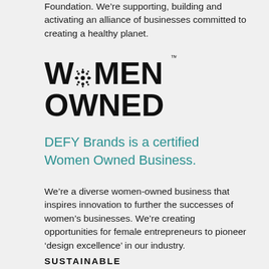Foundation. We’re supporting, building and activating an alliance of businesses committed to creating a healthy planet.
[Figure (logo): Women Owned logo with stylized snowflake/flower replacing the O in WOMEN, bold black uppercase lettering]
DEFY Brands is a certified Women Owned Business.
We’re a diverse women-owned business that inspires innovation to further the successes of women’s businesses. We’re creating opportunities for female entrepreneurs to pioneer ‘design excellence’ in our industry.
SUSTAINABLE